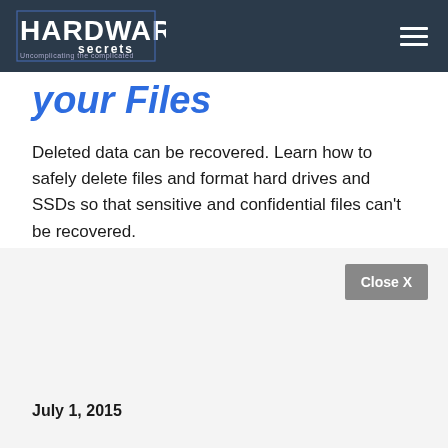Hardware Secrets — Uncomplicating the complicated
your Files
Deleted data can be recovered. Learn how to safely delete files and format hard drives and SSDs so that sensitive and confidential files can't be recovered.
Storage
Tutorials
Close X
July 1, 2015